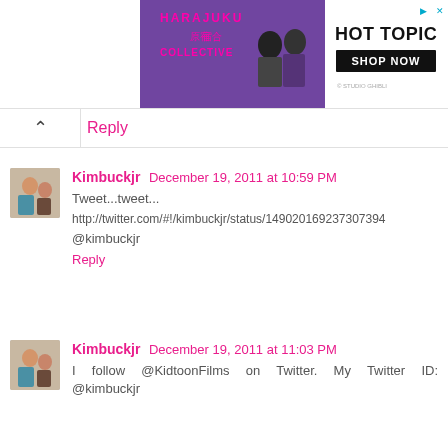[Figure (photo): Hot Topic advertisement banner featuring Harajuku Collective branding with purple background, two women in Japanese fashion, and Hot Topic Shop Now button]
Reply
Kimbuckjr December 19, 2011 at 10:59 PM
Tweet...tweet...
http://twitter.com/#!/kimbuckjr/status/149020169237307394
@kimbuckjr
Reply
Kimbuckjr December 19, 2011 at 11:03 PM
I follow @KidtoonFilms on Twitter. My Twitter ID: @kimbuckjr